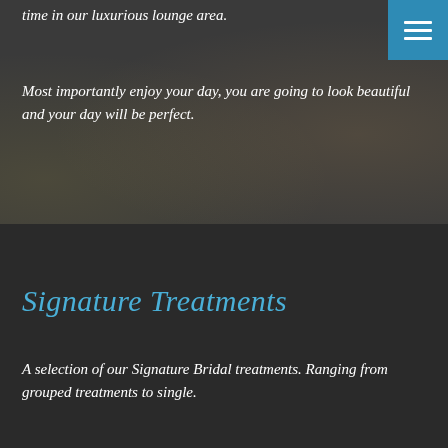time in our luxurious lounge area.
Most importantly enjoy your day, you are going to look beautiful and your day will be perfect.
Signature Treatments
A selection of our Signature Bridal treatments. Ranging from grouped treatments to single.